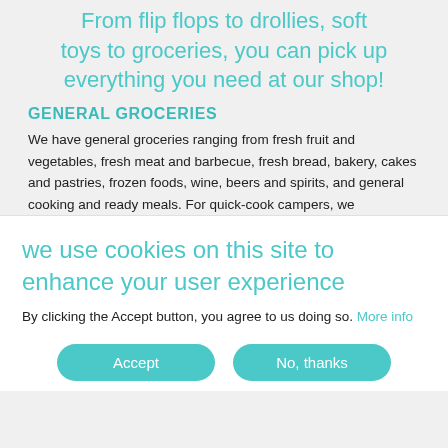From flip flops to drollies, soft toys to groceries, you can pick up everything you need at our shop!
GENERAL GROCERIES
We have general groceries ranging from fresh fruit and vegetables, fresh meat and barbecue, fresh bread, bakery, cakes and pastries, frozen foods, wine, beers and spirits, and general cooking and ready meals. For quick-cook campers, we
we use cookies on this site to enhance your user experience
By clicking the Accept button, you agree to us doing so. More info
Accept   No, thanks